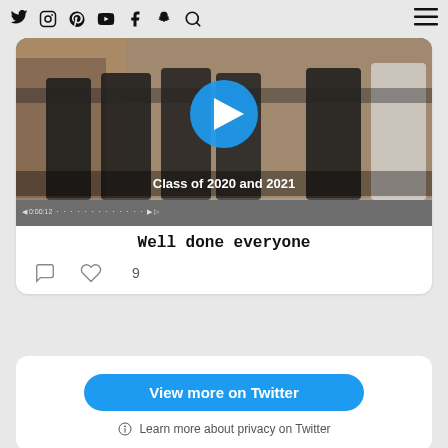Twitter, Instagram, Pinterest, YouTube, Facebook, Snapchat, Search, Menu
[Figure (screenshot): Video thumbnail showing graduates in black academic robes outside a building with a blue play button overlay. Caption reads 'Class of 2020 and 2021'. Below is monospace bold text: 'Well done everyone']
Well done everyone
9 likes
View more on Twitter
Learn more about privacy on Twitter